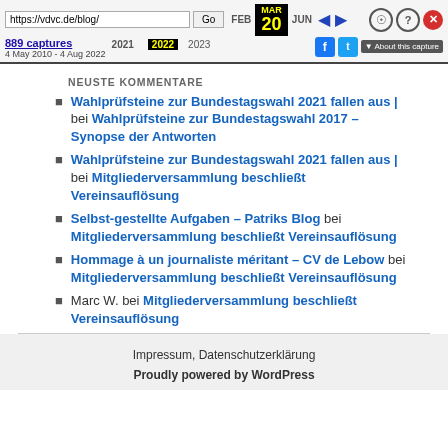[Figure (screenshot): Wayback Machine browser toolbar showing URL https://vdvc.de/blog/, Go button, FEB/MAR 20/JUN navigation with 2021/2022/2023 years, navigation arrows, user/help/close icons, Facebook/Twitter icons, 889 captures link, date range 4 May 2010 - 4 Aug 2022, About this capture button]
NEUSTE KOMMENTARE
Wahlprüfsteine zur Bundestagswahl 2021 fallen aus | bei Wahlprüfsteine zur Bundestagswahl 2017 – Synopse der Antworten
Wahlprüfsteine zur Bundestagswahl 2021 fallen aus | bei Mitgliederversammlung beschließt Vereinsauflösung
Selbst-gestellte Aufgaben – Patriks Blog bei Mitgliederversammlung beschließt Vereinsauflösung
Hommage à un journaliste méritant – CV de Lebow bei Mitgliederversammlung beschließt Vereinsauflösung
Marc W. bei Mitgliederversammlung beschließt Vereinsauflösung
Impressum, Datenschutzerklärung
Proudly powered by WordPress